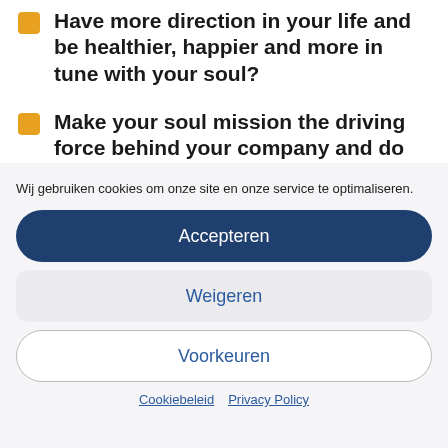Have more direction in your life and be healthier, happier and more in tune with your soul?
Make your soul mission the driving force behind your company and do
Wij gebruiken cookies om onze site en onze service te optimaliseren.
Accepteren
Weigeren
Voorkeuren
Cookiebeleid  Privacy Policy